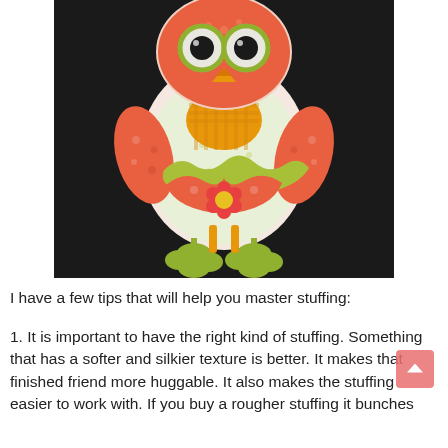[Figure (photo): A handmade fabric owl stuffed animal toy photographed against a dark/black background. The owl is made from patchwork fabric in orange, red, green/yellow, and white patterns including floral and gingham prints. It has large round eyes, wing-like arms, a beak, ruffled layers on its body, a flower appliqué on the belly, and green clover/leaf shaped feet.]
I have a few tips that will help you master stuffing:
1. It is important to have the right kind of stuffing. Something that has a softer and silkier texture is better. It makes that finished friend more huggable. It also makes the stuffing easier to work with. If you buy a rougher stuffing it bunches